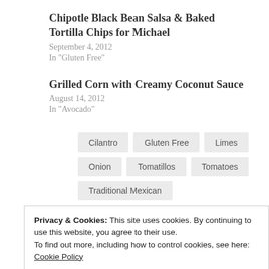Chipotle Black Bean Salsa & Baked Tortilla Chips for Michael
September 4, 2012
In "Gluten Free"
Grilled Corn with Creamy Coconut Sauce
August 14, 2012
In "Avocado"
Cilantro
Gluten Free
Limes
Onion
Tomatillos
Tomatoes
Traditional Mexican
Privacy & Cookies: This site uses cookies. By continuing to use this website, you agree to their use.
To find out more, including how to control cookies, see here: Cookie Policy
Close and accept